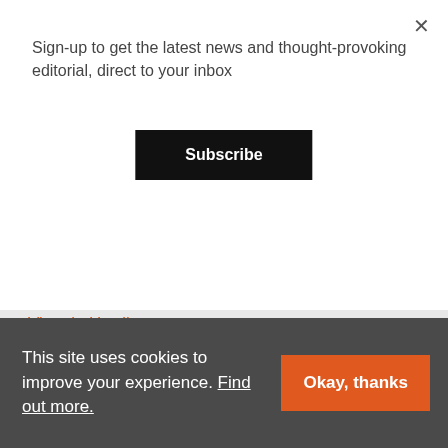Sign-up to get the latest news and thought-provoking editorial, direct to your inbox
Subscribe
Michael Turnpenny
South West –
Victoria Harding
Elizabeth Neathley
London –
This site uses cookies to improve your experience. Find out more.
Okay, thanks